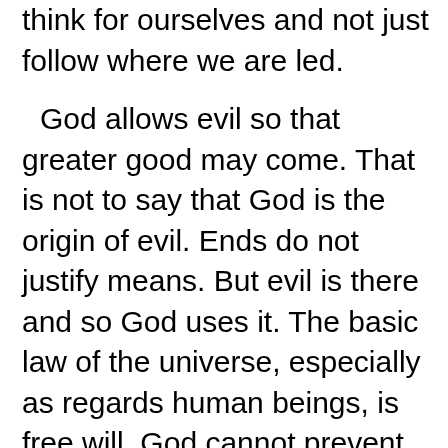think for ourselves and not just follow where we are led.

God allows evil so that greater good may come. That is not to say that God is the origin of evil. Ends do not justify means. But evil is there and so God uses it. The basic law of the universe, especially as regards human beings, is free will. God cannot prevent what is happening for, if he did, he would be removing the reason for the creation of humanity. But what he can do is turn it against itself and use it to make souls more aware of the true good. When it